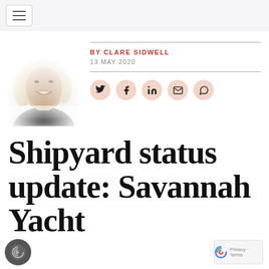[Figure (photo): Black and white headshot photo of Clare Sidwell, a woman with blonde hair, smiling, wearing a dark lace top.]
BY CLARE SIDWELL
13 MAY 2020
[Figure (infographic): Social share icons: Twitter, Facebook, LinkedIn, Email, WhatsApp — circular peach/salmon colored buttons.]
Shipyard status update: Savannah Yacht